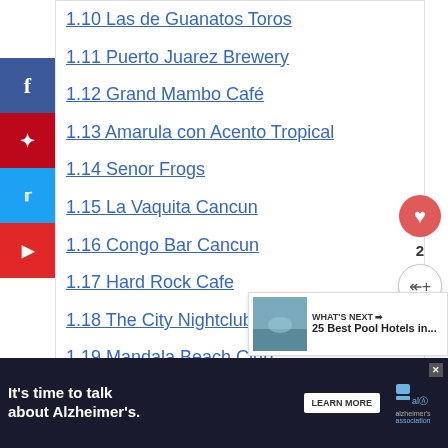1.10 Las de Guanatos Toros
1.11 Puerto Juarez Brewery
1.12 Grand Mambo Café
1.13 Amarula con Acento Tropical
1.14 Senor Frogs
1.15 La Vaquita Cancun
1.16 Congo Bar Cancun
1.17 Hard Rock Cafe
1.18 The City Nightclub Cancun
1.19 Mandala Beach Club
1.20 Cuncrawl
1.21 Los Arcos
1.22 Wrapping Up The Best Drink in Ca…
[Figure (other): Social media sidebar buttons: Facebook (blue), Pinterest (red), Twitter (blue), Flipboard (red)]
[Figure (other): Heart/like button with count 2 and share button]
[Figure (other): What's Next promo: 25 Best Pool Hotels in...]
[Figure (other): Advertisement banner: It's time to talk about Alzheimer's. with Learn More button and Alzheimer's Association logo]